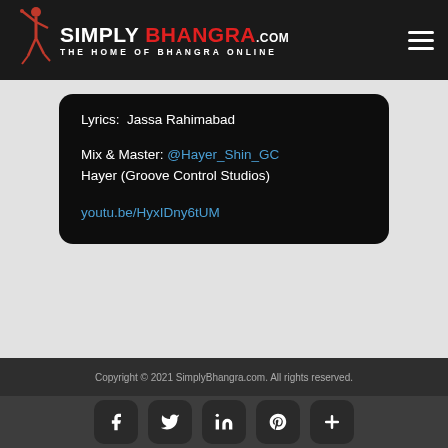SIMPLY BHANGRA.COM — THE HOME OF BHANGRA ONLINE
Lyrics:  Jassa Rahimabad
Mix & Master: @Hayer_Shin_GC Hayer (Groove Control Studios)
youtu.be/HyxIDny6tUM
Copyright © 2021 SimplyBhangra.com. All rights reserved.
[Figure (other): Social media icon buttons: Facebook, Twitter, LinkedIn, Pinterest, More (+)]